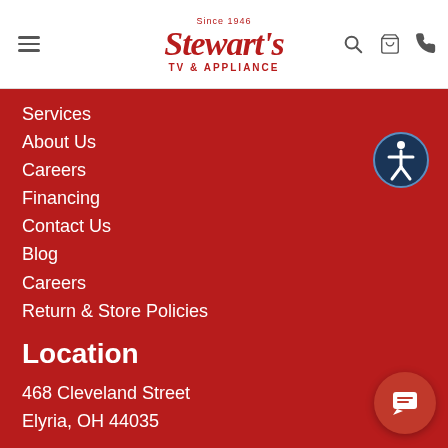Stewart's TV & Appliance — Since 1946
Services
About Us
Careers
Financing
Contact Us
Blog
Careers
Return & Store Policies
Location
468 Cleveland Street
Elyria, OH 44035